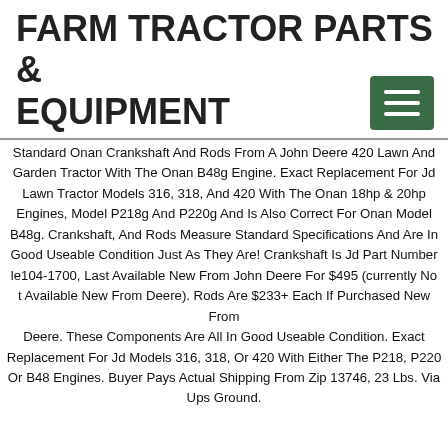FARM TRACTOR PARTS & EQUIPMENT
Standard Onan Crankshaft And Rods From A John Deere 420 Lawn And Garden Tractor With The Onan B48g Engine. Exact Replacement For Jd Lawn Tractor Models 316, 318, And 420 With The Onan 18hp & 20hp Engines, Model P218g And P220g And Is Also Correct For Onan Model B48g. Crankshaft, And Rods Measure Standard Specifications And Are In Good Useable Condition Just As They Are! Crankshaft Is Jd Part Number le104-1700, Last Available New From John Deere For $495 (currently Not Available New From Deere). Rods Are $233+ Each If Purchased New From Deere. These Components Are All In Good Useable Condition. Exact Replacement For Jd Models 316, 318, Or 420 With Either The P218, P220, Or B48 Engines. Buyer Pays Actual Shipping From Zip 13746, 23 Lbs. Via Ups Ground.